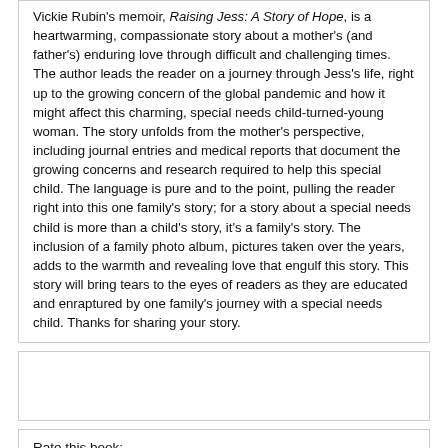Vickie Rubin's memoir, Raising Jess: A Story of Hope, is a heartwarming, compassionate story about a mother's (and father's) enduring love through difficult and challenging times. The author leads the reader on a journey through Jess's life, right up to the growing concern of the global pandemic and how it might affect this charming, special needs child-turned-young woman. The story unfolds from the mother's perspective, including journal entries and medical reports that document the growing concerns and research required to help this special child. The language is pure and to the point, pulling the reader right into this one family's story; for a story about a special needs child is more than a child's story, it's a family's story. The inclusion of a family photo album, pictures taken over the years, adds to the warmth and revealing love that engulf this story. This story will bring tears to the eyes of readers as they are educated and enraptured by one family's journey with a special needs child. Thanks for sharing your story.
Rate this book:
Name: